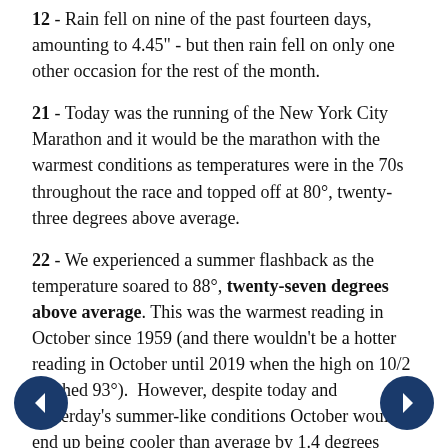12 - Rain fell on nine of the past fourteen days, amounting to 4.45" - but then rain fell on only one other occasion for the rest of the month.
21 - Today was the running of the New York City Marathon and it would be the marathon with the warmest conditions as temperatures were in the 70s throughout the race and topped off at 80°, twenty-three degrees above average.
22 - We experienced a summer flashback as the temperature soared to 88°, twenty-seven degrees above average. This was the warmest reading in October since 1959 (and there wouldn't be a hotter reading in October until 2019 when the high on 10/2 reached 93°). However, despite today and yesterday's summer-like conditions October would end up being cooler than average by 1.4 degrees (without these two warm days the rest of